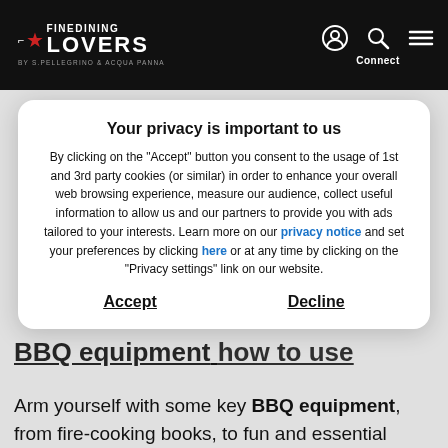FINEDINING LOVERS BY S.PELLEGRINO & ACQUA PANNA
Your privacy is important to us
By clicking on the "Accept" button you consent to the usage of 1st and 3rd party cookies (or similar) in order to enhance your overall web browsing experience, measure our audience, collect useful information to allow us and our partners to provide you with ads tailored to your interests. Learn more on our privacy notice and set your preferences by clicking here or at any time by clicking on the "Privacy settings" link on our website.
Accept    Decline
Arm yourself with some key BBQ equipment, from fire-cooking books, to fun and essential accessories.